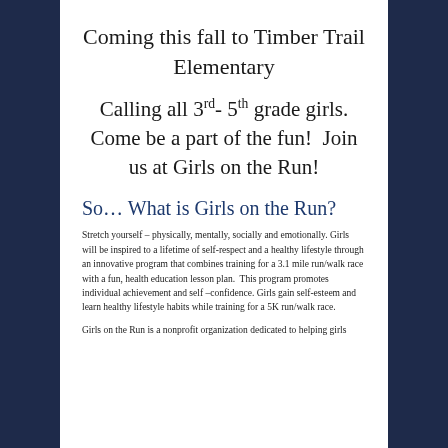Coming this fall to Timber Trail Elementary
Calling all 3rd- 5th grade girls. Come be a part of the fun!  Join us at Girls on the Run!
So… What is Girls on the Run?
Stretch yourself – physically, mentally, socially and emotionally. Girls will be inspired to a lifetime of self-respect and a healthy lifestyle through an innovative program that combines training for a 3.1 mile run/walk race with a fun, health education lesson plan.  This program promotes individual achievement and self –confidence. Girls gain self-esteem and learn healthy lifestyle habits while training for a 5K run/walk race.
Girls on the Run is a nonprofit organization dedicated to helping girls